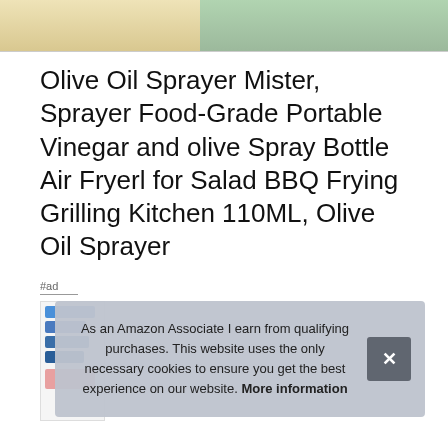[Figure (photo): Partial product images showing olive oil and a salad plate at the top of the page]
Olive Oil Sprayer Mister, Sprayer Food-Grade Portable Vinegar and olive Spray Bottle Air Fryerl for Salad BBQ Frying Grilling Kitchen 110ML, Olive Oil Sprayer
#ad
[Figure (screenshot): Small product listing thumbnail on the left]
As an Amazon Associate I earn from qualifying purchases. This website uses the only necessary cookies to ensure you get the best experience on our website. More information